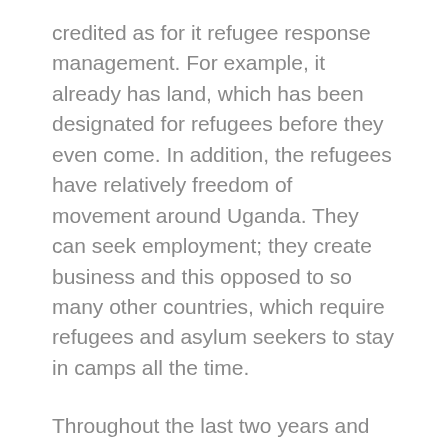credited as for it refugee response management. For example, it already has land, which has been designated for refugees before they even come. In addition, the refugees have relatively freedom of movement around Uganda. They can seek employment; they create business and this opposed to so many other countries, which require refugees and asylum seekers to stay in camps all the time.
Throughout the last two years and recently, thousands of Congolese refugees have crossed to Uganda breaking away from fresh violent clashes in eastern Congo especially in the Kivu and the oriental regions. The government political crisis that delayed the electoral process and the unsure peaceful transition of presidential leadership saw the seeds of the current crises conditions with thousands of